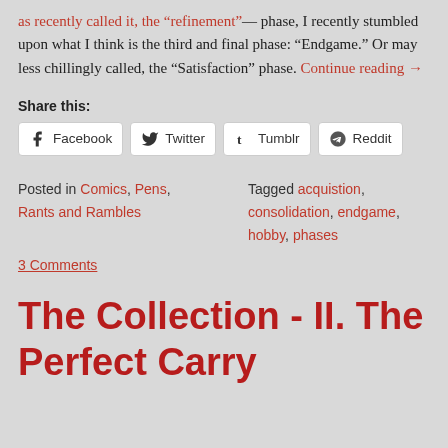as recently called it, the “refinement”— phase, I recently stumbled upon what I think is the third and final phase: “Endgame.” Or may less chillingly called, the “Satisfaction” phase. Continue reading →
Share this:
Facebook  Twitter  Tumblr  Reddit
Posted in Comics, Pens, Rants and Rambles
Tagged acquistion, consolidation, endgame, hobby, phases
3 Comments
The Collection - II. The Perfect Carry